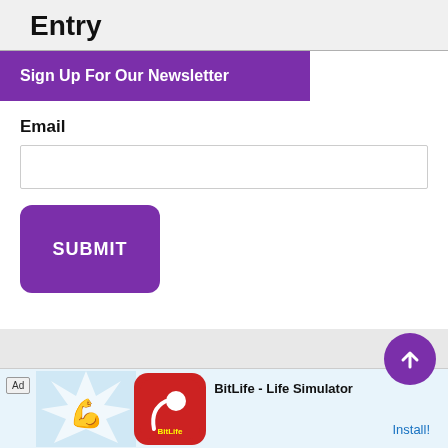Entry
Sign Up For Our Newsletter
Email
[Figure (screenshot): Email input text field, empty, with border]
[Figure (screenshot): Purple SUBMIT button with rounded corners]
[Figure (screenshot): Purple circular back-to-top arrow button]
[Figure (screenshot): Teal footer band with white starburst graphic]
[Figure (screenshot): Ad banner for BitLife - Life Simulator app with Install button]